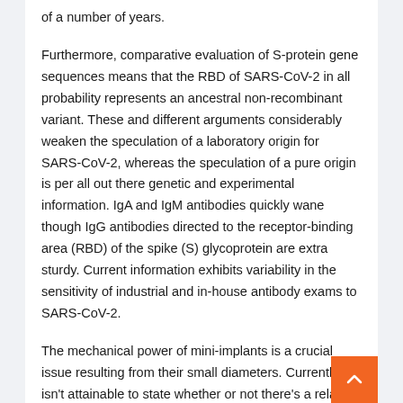of a number of years.
Furthermore, comparative evaluation of S-protein gene sequences means that the RBD of SARS-CoV-2 in all probability represents an ancestral non-recombinant variant. These and different arguments considerably weaken the speculation of a laboratory origin for SARS-CoV-2, whereas the speculation of a pure origin is per all out there genetic and experimental information. IgA and IgM antibodies quickly wane though IgG antibodies directed to the receptor-binding area (RBD) of the spike (S) glycoprotein are extra sturdy. Current information exhibits variability in the sensitivity of industrial and in-house antibody exams to SARS-CoV-2.
The mechanical power of mini-implants is a crucial issue resulting from their small diameters. Currently, it isn't attainable to state whether or not there's a related distinction between the mechanical properties of chrome steel (SS-MIs) and titanium alloy mini-implants (TA-MIs). The goal of this examine was to check the null speculation that there isn't a